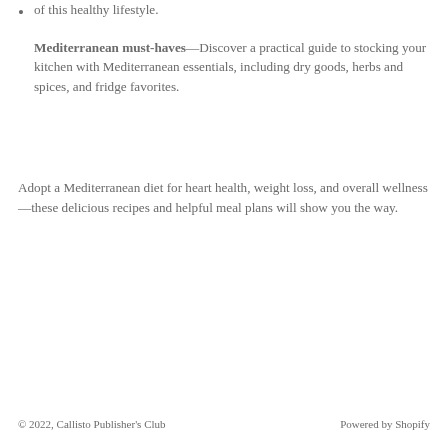Mediterranean must-haves—Discover a practical guide to stocking your kitchen with Mediterranean essentials, including dry goods, herbs and spices, and fridge favorites.
Adopt a Mediterranean diet for heart health, weight loss, and overall wellness—these delicious recipes and helpful meal plans will show you the way.
© 2022, Callisto Publisher's Club     Powered by Shopify